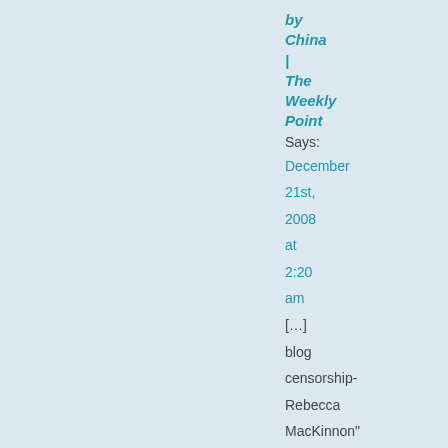by China | The Weekly Point Says: December 21st, 2008 at 2:20 am

[...] blog censorship- Rebecca MacKinnon" at facthai.wordpress.com by Rebecca
facthai.wordpress.com